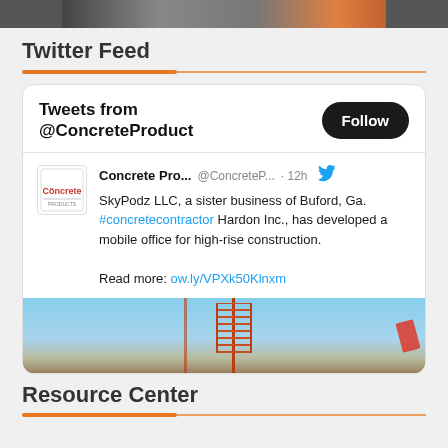[Figure (photo): Partial photo visible at top of page, dark cropped image]
Twitter Feed
[Figure (screenshot): Twitter feed widget showing tweets from @ConcreteProduct. Contains a tweet from Concrete Pro... @ConcreteP... 12h ago: 'SkyPodz LLC, a sister business of Buford, Ga. #concretecontractor Hardon Inc., has developed a mobile office for high-rise construction. Read more: ow.ly/VPXk50Klnxm' with a photo of construction scaffolding and crane.]
Resource Center